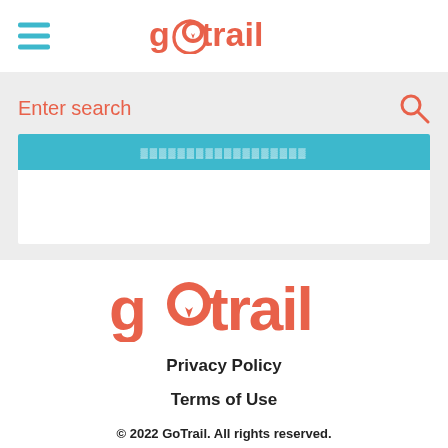[Figure (logo): GoTrail logo with compass icon in navigation bar, coral/salmon red color]
Enter search
[Figure (screenshot): Search bar area with light gray background, blue results bar visible]
[Figure (logo): Large GoTrail logo in coral/salmon red color in footer area]
Privacy Policy
Terms of Use
© 2022 GoTrail. All rights reserved.